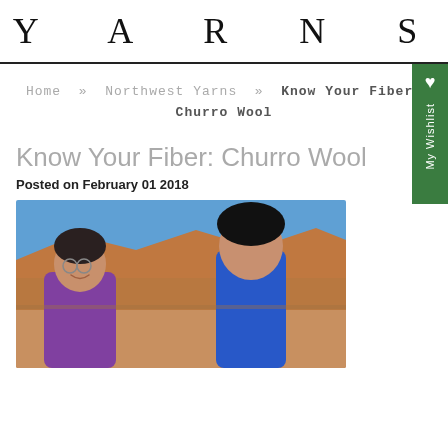YARNS
Home » Northwest Yarns » Know Your Fiber: Churro Wool
Know Your Fiber: Churro Wool
Posted on February 01 2018
[Figure (photo): Two people outdoors in a desert landscape with red hills and blue sky in the background.]